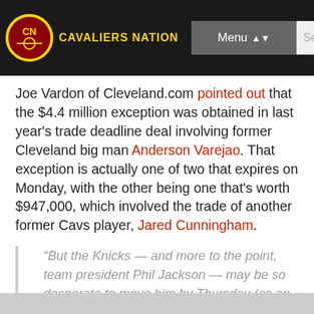Cavaliers Nation | Menu | Search
Joe Vardon of Cleveland.com pointed out that the $4.4 million exception was obtained in last year's trade deadline deal involving former Cleveland big man Anderson Varejao. That exception is actually one of two that expires on Monday, with the other being one that's worth $947,000, which involved the trade of another former Cavs player, Jared Cunningham.
“But the Knicks — and more to the point, team president Phil Jackson — may be so desperate to move him by Thursday (as an aside, the Cavs and Knicks play each other that night in Cleveland), there is a feeling inside the league that they would weigh offers for lesser players from teams, including potentially the Cavs,” writes Vardon.